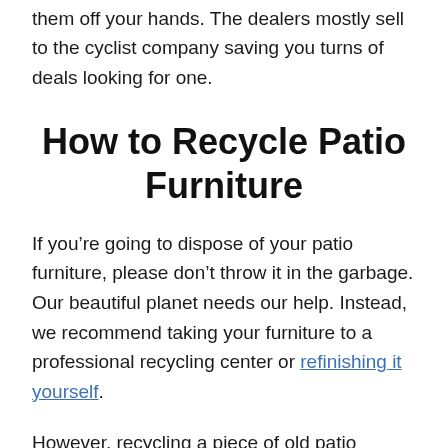them off your hands. The dealers mostly sell to the cyclist company saving you turns of deals looking for one.
How to Recycle Patio Furniture
If you’re going to dispose of your patio furniture, please don’t throw it in the garbage. Our beautiful planet needs our help. Instead, we recommend taking your furniture to a professional recycling center or refinishing it yourself.
However, recycling a piece of old patio furniture is not a straightforward process. It is dependent on the materials that were used in its construction